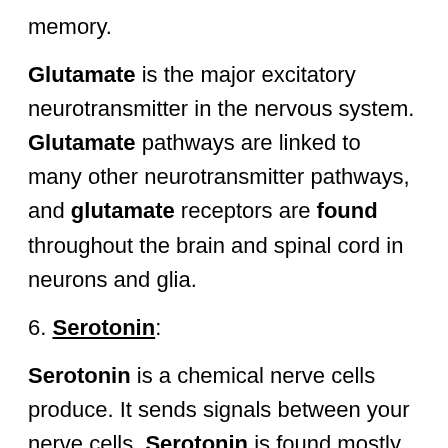memory.
Glutamate is the major excitatory neurotransmitter in the nervous system. Glutamate pathways are linked to many other neurotransmitter pathways, and glutamate receptors are found throughout the brain and spinal cord in neurons and glia.
6. Serotonin:
Serotonin is a chemical nerve cells produce. It sends signals between your nerve cells. Serotonin is found mostly in the digestive system, although it's also in blood platelets and throughout the central nervous system. Serotonin is made from the essential amino acid tryptophan.
In the brain, serotonin helps with mood regulation and